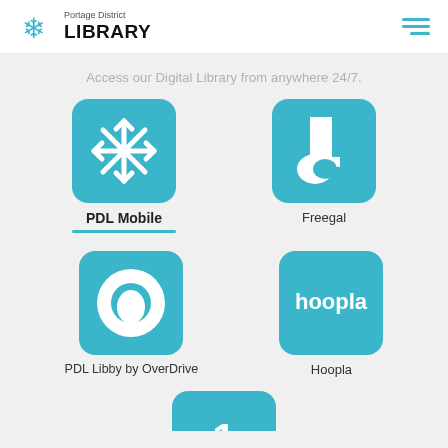Portage District LIBRARY
Access our Digital Library from anywhere 24/7.
[Figure (logo): PDL Mobile app icon: teal square with white Portage District Library snowflake/cross logo]
PDL Mobile
[Figure (logo): Freegal app icon: teal square with white music note / letter f shape]
Freegal
[Figure (logo): PDL Libby by OverDrive app icon: teal square with white circular ring logo]
PDL Libby by OverDrive
[Figure (logo): Hoopla app icon: teal square with white 'hoopla' text]
Hoopla
[Figure (logo): Partially visible teal app icon at bottom of page showing number 1]